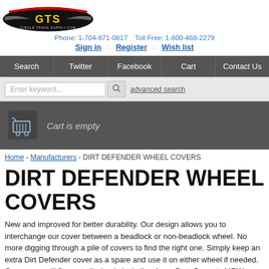[Figure (logo): GTS Circle Track Supply logo - yellow and red text with black and red design]
Phone: 1-704-871-0817   Toll Free: 1-800-468-2279
Sign in :: Register :: Wish list
Search | Twitter | Facebook | Cart | Contact Us
Enter keyword... [search button] advanced search
Cart is empty
Home - Manufacturers - DIRT DEFENDER WHEEL COVERS
DIRT DEFENDER WHEEL COVERS
New and improved for better durability. Our design allows you to interchange our cover between a beadlock or non-beadlock wheel. No more digging through a pile of covers to find the right one. Simply keep an extra Dirt Defender cover as a spare and use it on either wheel if needed. Our covers will fit most all wheels including Aero, Bart, Bassett, MRW, Kaiser, Weld, and Real wheels to name a few.